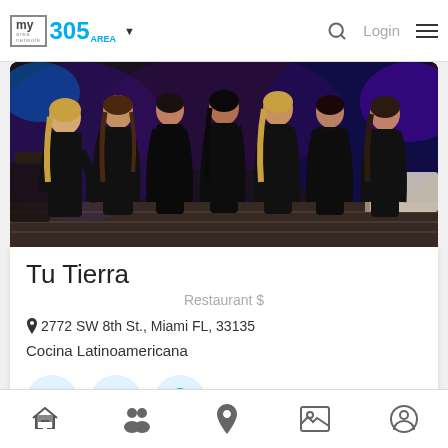my area network | 305 AREA | Login
[Figure (photo): Group of women in black outfits standing in a restaurant/nightclub setting with blue and purple lighting]
Tu Tierra
Restaurant $
2772 SW 8th St., Miami FL, 33135
Cocina Latinoamericana
Miami
Home | People | Location | Photos | Profile